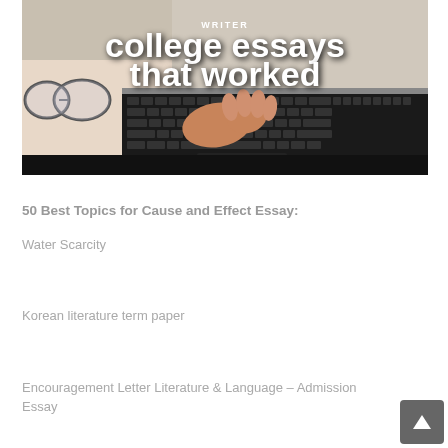[Figure (photo): Photo of hands typing on a laptop keyboard with glasses nearby. White bold text overlay reads 'college essays that worked' with 'WRITER' text partially visible at top.]
50 Best Topics for Cause and Effect Essay:
Water Scarcity
Korean literature term paper
Encouragement Letter Literature & Language – Admission Essay